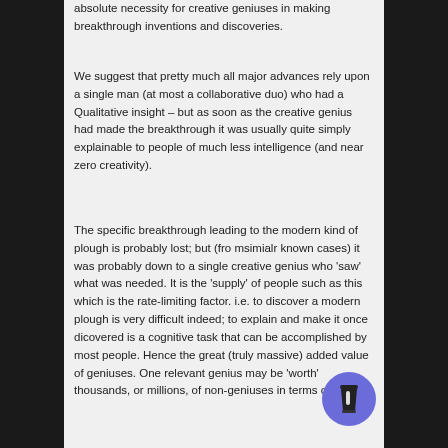absolute necessity for creative geniuses in making breakthrough inventions and discoveries.
We suggest that pretty much all major advances rely upon a single man (at most a collaborative duo) who had a Qualitative insight – but as soon as the creative genius had made the breakthrough it was usually quite simply explainable to people of much less intelligence (and near zero creativity).
The specific breakthrough leading to the modern kind of plough is probably lost; but (fro msimialr known cases) it was probably down to a single creative genius who 'saw' what was needed. It is the 'supply' of people such as this which is the rate-limiting factor. i.e. to discover a modern plough is very difficult indeed; to explain and make it once dicovered is a cognitive task that can be accomplished by most people. Hence the great (truly massive) added value of geniuses. One relevant genius may be 'worth' thousands, or millions, of non-geniuses in terms of societal
[Figure (illustration): Coffee cup button/badge icon — circular blue-purple button with a to-go coffee cup icon in dark color]